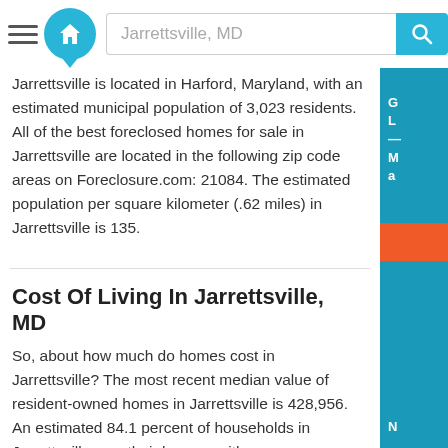[Figure (screenshot): Website header with hamburger menu, home logo, search bar with 'Jarrettsville, MD' text, and teal search button]
Jarrettsville is located in Harford, Maryland, with an estimated municipal population of 3,023 residents. All of the best foreclosed homes for sale in Jarrettsville are located in the following zip code areas on Foreclosure.com: 21084. The estimated population per square kilometer (.62 miles) in Jarrettsville is 135.
Cost Of Living In Jarrettsville, MD
So, about how much do homes cost in Jarrettsville? The most recent median value of resident-owned homes in Jarrettsville is 428,956. An estimated 84.1 percent of households in Jarrettsville own their homes, with an average family size of 3.18. The median household income in Jarrettsville is 118,036, with56.4 percentage of households earning at least $100,000 annually. For working parents and professionals who are searching for cheap homes in Jarrettsville, the median commute time of resident workers (in minutes) is 42.6. And last, but certainly not least, are you looking for homes to rent in Jarrettsville? If so, the average rent price